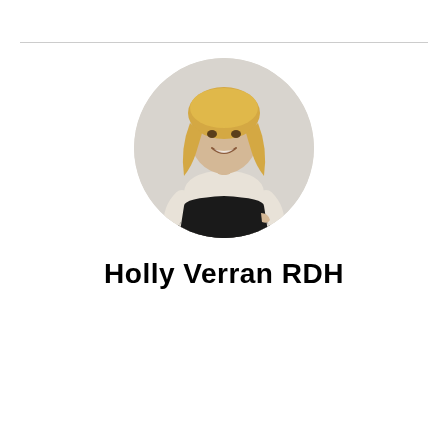[Figure (photo): Circular portrait photo of Holly Verran RDH, a blonde woman wearing a cream/beige long-sleeve top and black skirt, smiling, against a light grey background.]
Holly Verran RDH